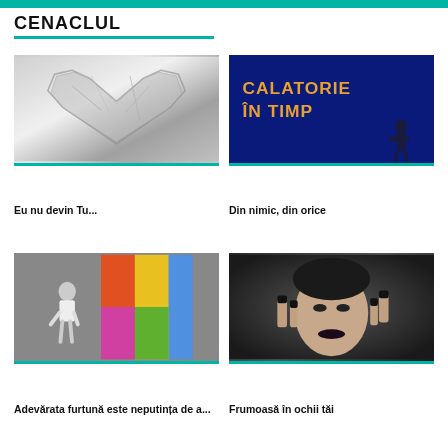CENACLUL
[Figure (photo): Black and white photo of a crumpled metallic heart shape]
Eu nu devin Tu...
[Figure (photo): Dark blue background with text CALATORIE ÎN TIMP and silhouette of a person]
Din nimic, din orice
[Figure (photo): Girl in white dress against colorful mural wall, black and white photo]
Adevărata furtună este neputința de a...
[Figure (photo): Woman with dark lipstick and black nails emerging from torn dark background]
Frumoasă în ochii tăi